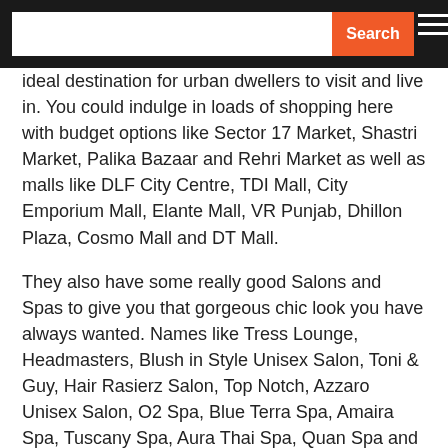Search
ideal destination for urban dwellers to visit and live in. You could indulge in loads of shopping here with budget options like Sector 17 Market, Shastri Market, Palika Bazaar and Rehri Market as well as malls like DLF City Centre, TDI Mall, City Emporium Mall, Elante Mall, VR Punjab, Dhillon Plaza, Cosmo Mall and DT Mall.
They also have some really good Salons and Spas to give you that gorgeous chic look you have always wanted. Names like Tress Lounge, Headmasters, Blush in Style Unisex Salon, Toni & Guy, Hair Rasierz Salon, Top Notch, Azzaro Unisex Salon, O2 Spa, Blue Terra Spa, Amaira Spa, Tuscany Spa, Aura Thai Spa, Quan Spa and SamaYan Spa invoke trust and comfort!
If you are on the lookout for some exquisite tasty bites, their list of restaurants like Garlic And Greens, Virgin Courtyard, Chilli & Pepper, Cafe JC's, The Café @ JW, Saffron, Barbeque Nation, The Great Bear, Virgin